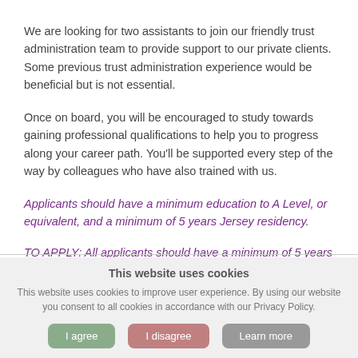We are looking for two assistants to join our friendly trust administration team to provide support to our private clients. Some previous trust administration experience would be beneficial but is not essential.
Once on board, you will be encouraged to study towards gaining professional qualifications to help you to progress along your career path. You'll be supported every step of the way by colleagues who have also trained with us.
Applicants should have a minimum education to A Level, or equivalent, and a minimum of 5 years Jersey residency.
TO APPLY: All applicants should have a minimum of 5 years Jersey residency. Please send your CV and confirm the role that you are applying for to email: Solange Rebours
This website uses cookies
This website uses cookies to improve user experience. By using our website you consent to all cookies in accordance with our Privacy Policy.